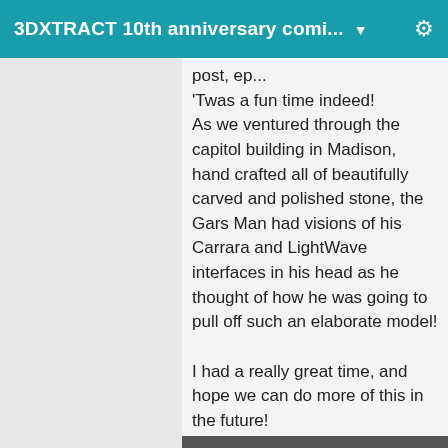3DXTRACT 10th anniversary comi... ▼
post, ep...
'Twas a fun time indeed!
As we ventured through the capitol building in Madison, hand crafted all of beautifully carved and polished stone, the Gars Man had visions of his Carrara and LightWave interfaces in his head as he thought of how he was going to pull off such an elaborate model!

I had a really great time, and hope we can do more of this in the future!
Attachments